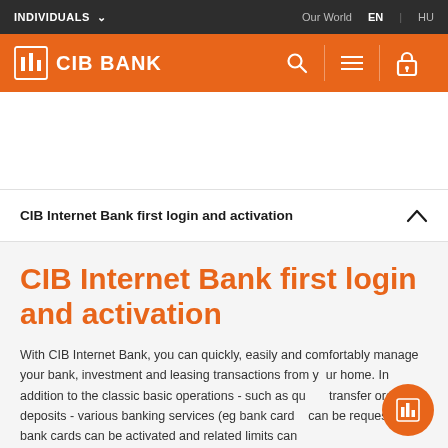INDIVIDUALS ∨    Our World    EN | HU
[Figure (logo): CIB Bank logo with orange background header bar, search icon, menu icon, and lock icon]
CIB Internet Bank first login and activation
CIB Internet Bank first login and activation
With CIB Internet Bank, you can quickly, easily and comfortably manage your bank, investment and leasing transactions from your home. In addition to the classic basic operations - such as query, transfer orders, deposits - various banking services (eg bank cards) can be requested, bank cards can be activated and related limits can